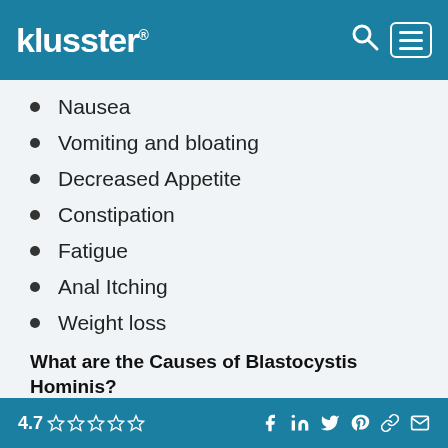klusster® [search icon] [menu icon]
Nausea
Vomiting and bloating
Decreased Appetite
Constipation
Fatigue
Anal Itching
Weight loss
What are the Causes of Blastocystis Hominis?
Little is known about the exact causes of blastocystis
4.7 ☆☆☆☆☆ [social icons: Facebook, LinkedIn, Twitter, Pinterest, Link, Email]